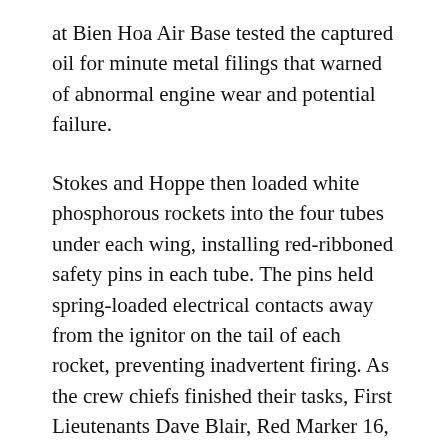at Bien Hoa Air Base tested the captured oil for minute metal filings that warned of abnormal engine wear and potential failure.
Stokes and Hoppe then loaded white phosphorous rockets into the four tubes under each wing, installing red-ribboned safety pins in each tube. The pins held spring-loaded electrical contacts away from the ignitor on the tail of each rocket, preventing inadvertent firing. As the crew chiefs finished their tasks, First Lieutenants Dave Blair, Red Marker 16, and Lanny Mayberry, Red Marker 19, arrived to preflight the plane each would fly.
Red Marker FACs